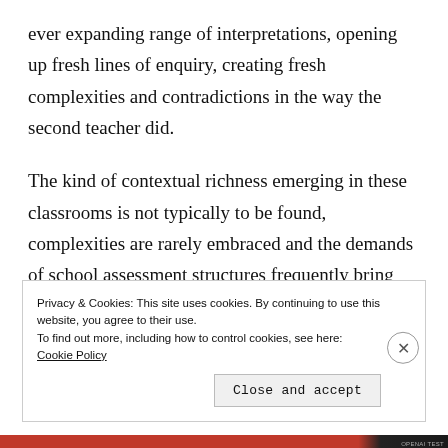ever expanding range of interpretations, opening up fresh lines of enquiry, creating fresh complexities and contradictions in the way the second teacher did.
The kind of contextual richness emerging in these classrooms is not typically to be found, complexities are rarely embraced and the demands of school assessment structures frequently bring about the early closure of what is there to explore. [5]
Privacy & Cookies: This site uses cookies. By continuing to use this website, you agree to their use.
To find out more, including how to control cookies, see here: Cookie Policy
Close and accept